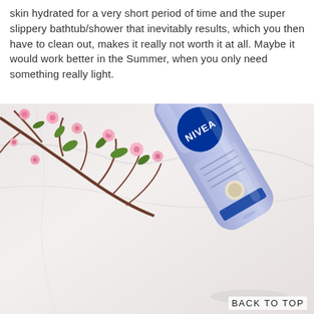skin hydrated for a very short period of time and the super slippery bathtub/shower that inevitably results, which you then have to clean out, makes it really not worth it at all. Maybe it would work better in the Summer, when you only need something really light.
[Figure (photo): A Nivea In-Shower Body Moisturiser bottle (purple/lavender colored) laid on a white marble surface alongside pink cherry blossom branches with green leaves.]